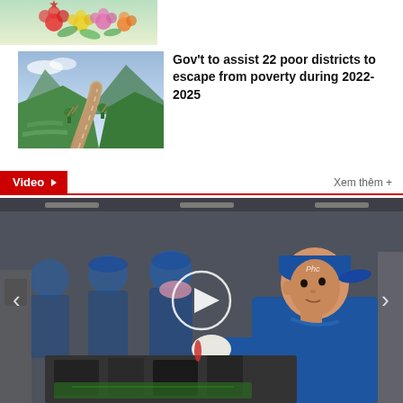[Figure (photo): Colorful flower arrangement photo strip at top of page]
[Figure (photo): Mountain road through lush green hills in Vietnam]
Gov't to assist 22 poor districts to escape from poverty during 2022-2025
Video
Xem thêm +
[Figure (photo): Factory workers in blue uniforms and caps assembling products on a production line, with a play button overlay indicating a video]